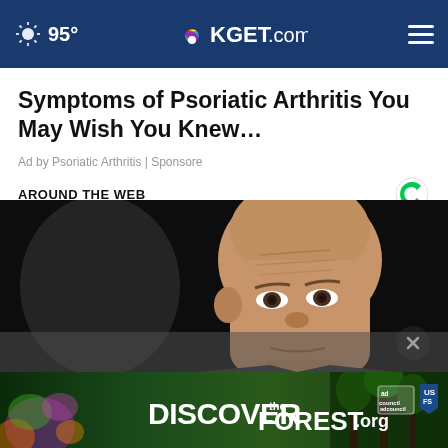95° KGET.com
Symptoms of Psoriatic Arthritis You May Wish You Knew…
Ad by Psoriatic Arthritis | Sponsore
AROUND THE WEB
[Figure (photo): Close-up photo of a bald man's face against a dark background]
[Figure (photo): DiscoverTheForest.org advertisement banner with forest imagery, Ad Council and USDA Forest Service logos]